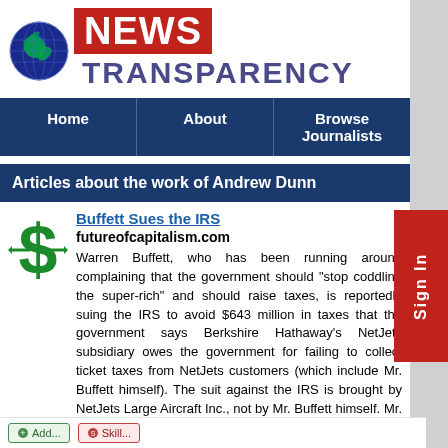[Figure (logo): News Transparency logo with globe icon, red NEWS box, and blue TRANSPARENCY text]
Home | About | Browse Journalists
Articles about the work of Andrew Dunn
[Figure (illustration): Green dollar sign icon with arrows]
Buffett Sues the IRS
futureofcapitalism.com
Warren Buffett, who has been running around complaining that the government should "stop coddling the super-rich" and should raise taxes, is reportedly suing the IRS to avoid $643 million in taxes that the government says Berkshire Hathaway's NetJets subsidiary owes the government for failing to collect ticket taxes from NetJets customers (which include Mr. Buffett himself). The suit against the IRS is brought by NetJets Large Aircraft Inc., not by Mr. Buffett himself. Mr. Buffett is CEO of NetJet parent Berkshire and its largest individual shareholder.
Read More...